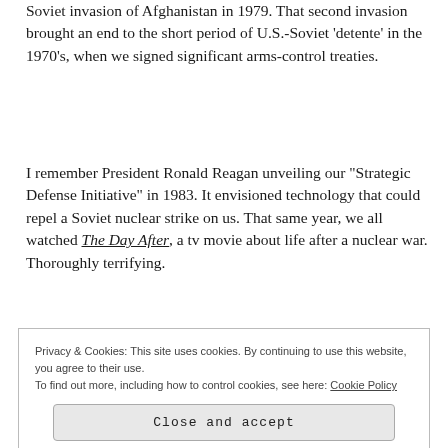Soviet invasion of Afghanistan in 1979. That second invasion brought an end to the short period of U.S.-Soviet 'detente' in the 1970's, when we signed significant arms-control treaties.
I remember President Ronald Reagan unveiling our "Strategic Defense Initiative" in 1983. It envisioned technology that could repel a Soviet nuclear strike on us. That same year, we all watched The Day After, a tv movie about life after a nuclear war. Thoroughly terrifying.
Privacy & Cookies: This site uses cookies. By continuing to use this website, you agree to their use. To find out more, including how to control cookies, see here: Cookie Policy
Close and accept